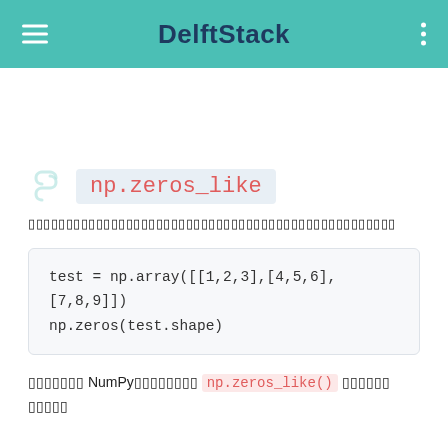DelftStack
np.zeros_like
□□□□□□□□□□□□□□□□□□□□□□□□□□□□□□□□□□□□□□□□□□□□□□□□□
test = np.array([[1,2,3],[4,5,6],[7,8,9]])
np.zeros(test.shape)
□□□□□□□ NumPy□□□□□□□□ np.zeros_like() □□□□□□
□□□□□